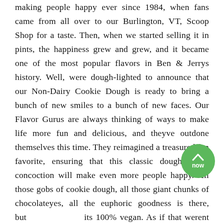making people happy ever since 1984, when fans came from all over to our Burlington, VT, Scoop Shop for a taste. Then, when we started selling it in pints, the happiness grew and grew, and it became one of the most popular flavors in Ben & Jerrys history. Well, were dough-lighted to announce that our Non-Dairy Cookie Dough is ready to bring a bunch of new smiles to a bunch of new faces. Our Flavor Gurus are always thinking of ways to make life more fun and delicious, and theyve outdone themselves this time. They reimagined a treasured fan favorite, ensuring that this classic dough-loaded concoction will make even more people happy. All those gobs of cookie dough, all those giant chunks of chocolateyes, all the euphoric goodness is there, but now its 100% vegan. As if that werent enough, we also use only Fairtrade Certified cocoa, sugar, and vanilla in every pint. Were proud to use Fairtrade Certified ingredients. After one bite, we bet youll understand why!
[Figure (other): Green circular button with upward chevron arrow and text 'now']